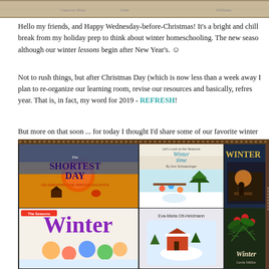[Figure (photo): Top banner image showing a winter landscape map or illustration with text labels]
Hello my friends, and Happy Wednesday-before-Christmas! It's a bright and chill break from my holiday prep to think about winter homeschooling. The new season although our winter lessons begin after New Year's. ☺
Not to rush things, but after Christmas Day (which is now less than a week away I plan to re-organize our learning room, revise our resources and basically, refresh year. That is, in fact, my word for 2019 - REFRESH!
But more on that soon ... for today I thought I'd share some of our favorite winter
[Figure (photo): Collage of winter-themed children's books including 'The Shortest Day', 'Wintertime', 'Winter', and other winter season books]